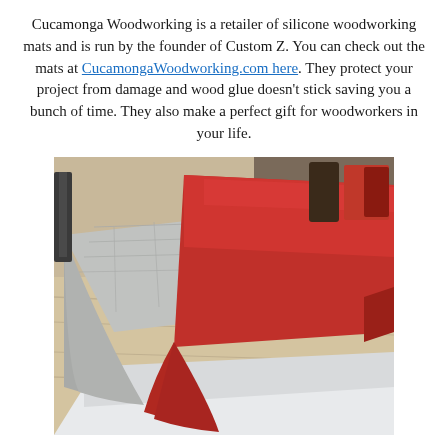Cucamonga Woodworking is a retailer of silicone woodworking mats and is run by the founder of Custom Z. You can check out the mats at CucamongaWoodworking.com here. They protect your project from damage and wood glue doesn't stick saving you a bunch of time. They also make a perfect gift for woodworkers in your life.
[Figure (photo): Photo of two silicone woodworking mats — one gray/silver and one red — partially rolled/folded, resting on a light wooden surface. The mats have textured surfaces and are shown curling up at the edges.]